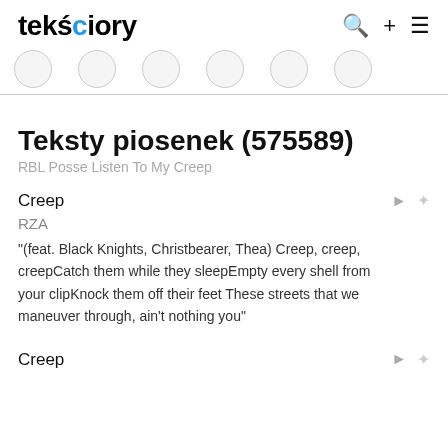tekściory
Teksty piosenek (575589)
RBL Posse Listen To My Creep
Creep
RZA
"(feat. Black Knights, Christbearer, Thea) Creep, creep, creepCatch them while they sleepEmpty every shell from your clipKnock them off their feet These streets that we maneuver through, ain't nothing you"
Creep